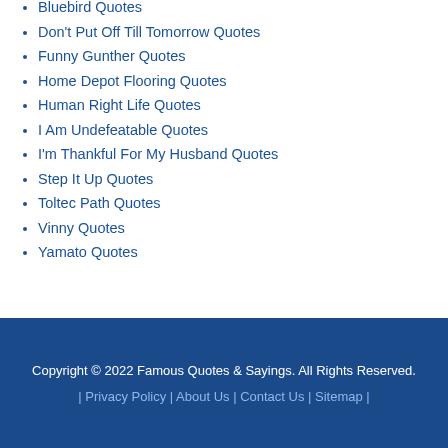Bluebird Quotes
Don't Put Off Till Tomorrow Quotes
Funny Gunther Quotes
Home Depot Flooring Quotes
Human Right Life Quotes
I Am Undefeatable Quotes
I'm Thankful For My Husband Quotes
Step It Up Quotes
Toltec Path Quotes
Vinny Quotes
Yamato Quotes
Copyright © 2022 Famous Quotes & Sayings. All Rights Reserved. | Privacy Policy | About Us | Contact Us | Sitemap |